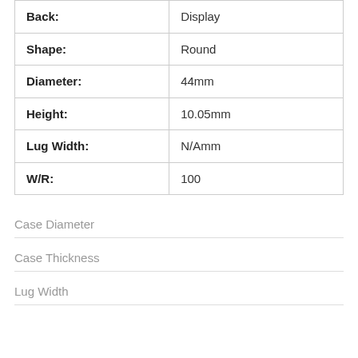| Attribute | Value |
| --- | --- |
| Back: | Display |
| Shape: | Round |
| Diameter: | 44mm |
| Height: | 10.05mm |
| Lug Width: | N/Amm |
| W/R: | 100 |
Case Diameter
Case Thickness
Lug Width